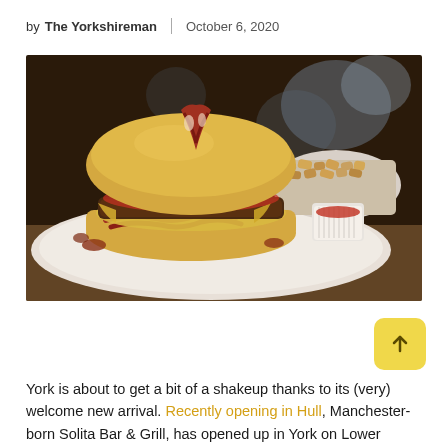by The Yorkshireman | October 6, 2020
[Figure (photo): A burger with bacon and melted cheese on a brioche bun, served on a white plate with a bowl of crispy fried food and a small ramekin of sauce, photographed in a restaurant setting with blurred background lighting.]
York is about to get a bit of a shakeup thanks to its (very) welcome new arrival. Recently opening in Hull, Manchester-born Solita Bar & Grill, has opened up in York on Lower Petergate,